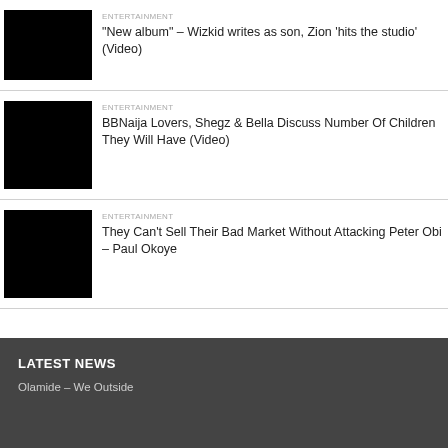ENTERTAINMENT
“New album” – Wizkid writes as son, Zion ‘hits the studio’ (Video)
ENTERTAINMENT
BBNaija Lovers, Shegz & Bella Discuss Number Of Children They Will Have (Video)
ENTERTAINMENT
They Can't Sell Their Bad Market Without Attacking Peter Obi – Paul Okoye
LATEST NEWS
Olamide – We Outside